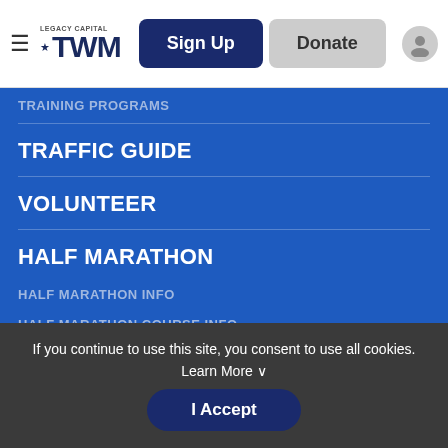LEGACY CAPITAL TWM | Sign Up | Donate
TRAINING PROGRAMS (partial, clipped at top)
TRAFFIC GUIDE
VOLUNTEER
HALF MARATHON
HALF MARATHON INFO
HALF MARATHON COURSE INFO
ELITE ATHLETES
PACE TEAMS
TRAINING PROGRAMS
13.1 WATER STOPS
If you continue to use this site, you consent to use all cookies. Learn More ∨
I Accept